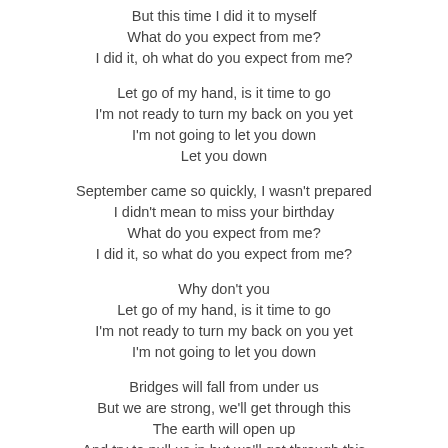But this time I did it to myself
What do you expect from me?
I did it, oh what do you expect from me?

Let go of my hand, is it time to go
I'm not ready to turn my back on you yet
I'm not going to let you down
Let you down

September came so quickly, I wasn't prepared
I didn't mean to miss your birthday
What do you expect from me?
I did it, so what do you expect from me?

Why don't you
Let go of my hand, is it time to go
I'm not ready to turn my back on you yet
I'm not going to let you down

Bridges will fall from under us
But we are strong, we'll get through this
The earth will open up
And try to pull us in but we'll get through this